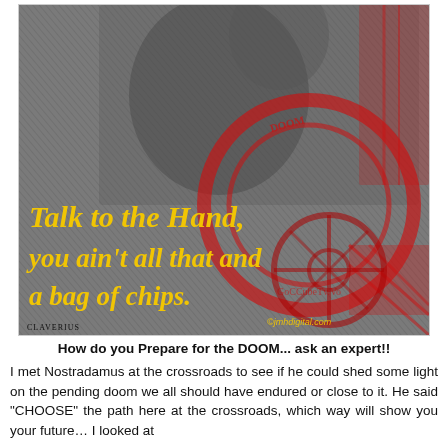[Figure (illustration): Black and white engraving of Nostradamus or a historical scholar seated at a desk writing, overlaid with red circular stamp/seal decorations and yellow italic text reading 'Talk to the Hand, you ain't all that and a bag of chips.' with a watermark '@jmhdigital.com' and label 'CLAVERIUS' at bottom left.]
How do you Prepare for the DOOM... ask an expert!!
I met Nostradamus at the crossroads to see if he could shed some light on the pending doom we all should have endured or close to it. He said "CHOOSE" the path here at the crossroads, which way will show you your future... I looked at